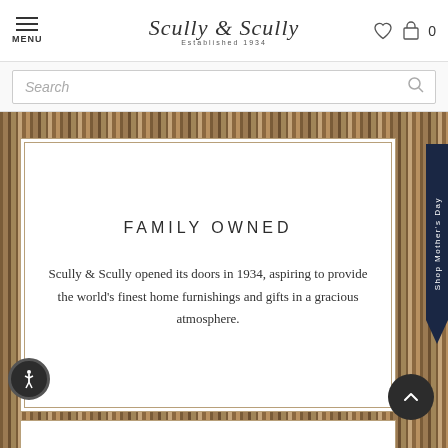MENU | Scully & Scully | Established 1934 | [heart icon] [bag icon] 0
Search
FAMILY OWNED
Scully & Scully opened its doors in 1934, aspiring to provide the world's finest home furnishings and gifts in a gracious atmosphere.
Shop Mother's Day